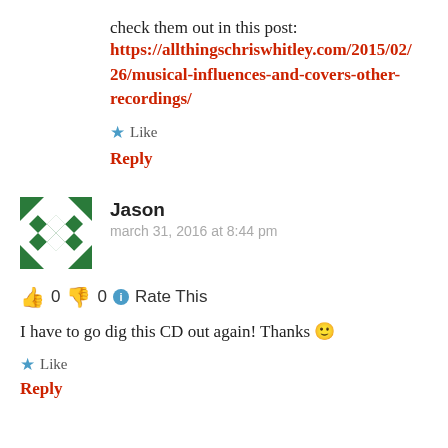check them out in this post: https://allthingschriswhitley.com/2015/02/26/musical-influences-and-covers-other-recordings/
★ Like
Reply
Jason
march 31, 2016 at 8:44 pm
👍 0 👎 0 ℹ Rate This
I have to go dig this CD out again! Thanks 🙂
★ Like
Reply